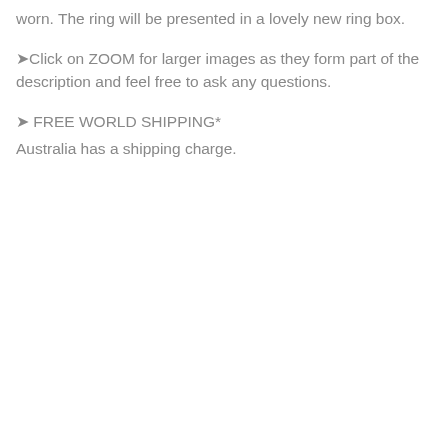worn. The ring will be presented in a lovely new ring box.
➤Click on ZOOM for larger images as they form part of the description and feel free to ask any questions.
➤  FREE WORLD SHIPPING*
Australia has a shipping charge.